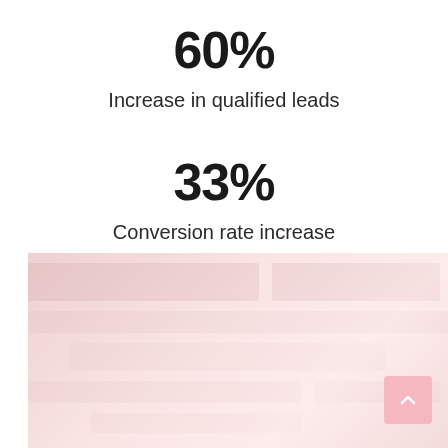60%
Increase in qualified leads
33%
Conversion rate increase
[Figure (photo): Faded pink-tinted background image, partially visible, with a pink scroll-to-top button in the bottom-right corner]